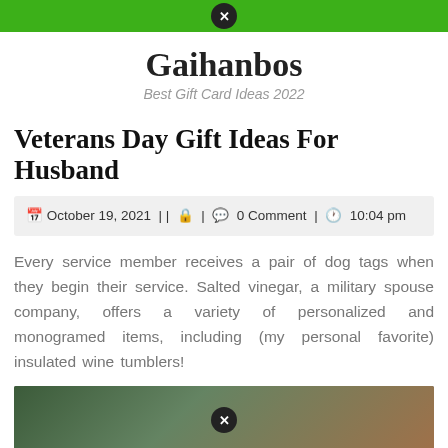Gaihanbos — navigation bar with close button
Gaihanbos
Best Gift Card Ideas 2022
Veterans Day Gift Ideas For Husband
October 19, 2021 | | 🔒 | 💬 0 Comment | 🕐 10:04 pm
Every service member receives a pair of dog tags when they begin their service. Salted vinegar, a military spouse company, offers a variety of personalized and monogramed items, including (my personal favorite) insulated wine tumblers!
[Figure (photo): Photo of a military uniform or flag with stars, partially visible at the bottom of the page, with a close/dismiss button overlay in the center.]